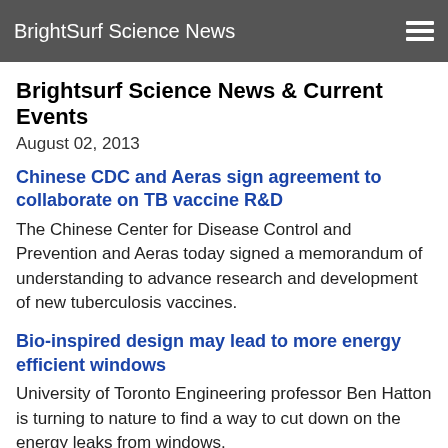BrightSurf Science News
Brightsurf Science News & Current Events
August 02, 2013
Chinese CDC and Aeras sign agreement to collaborate on TB vaccine R&D
The Chinese Center for Disease Control and Prevention and Aeras today signed a memorandum of understanding to advance research and development of new tuberculosis vaccines.
Bio-inspired design may lead to more energy efficient windows
University of Toronto Engineering professor Ben Hatton is turning to nature to find a way to cut down on the energy leaks from windows.